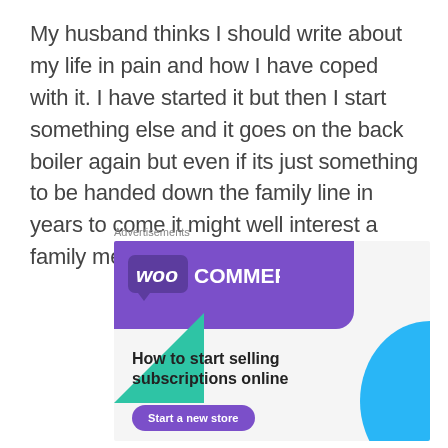My husband thinks I should write about my life in pain and how I have coped with it. I have started it but then I start something else and it goes on the back boiler again but even if its just something to be handed down the family line in years to come it might well interest a family member.
Advertisements
[Figure (other): WooCommerce advertisement banner showing the WooCommerce logo on a purple background with green and teal decorative shapes, text 'How to start selling subscriptions online' and a purple 'Start a new store' button.]